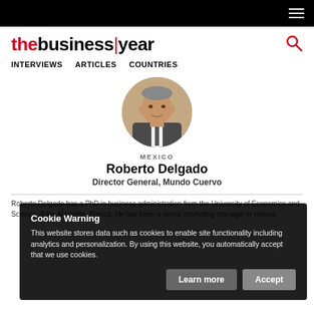thebusinessyear — top navigation bar with hamburger menu
[Figure (logo): The Business Year logo with red accent and search icon]
INTERVIEWS   ARTICLES   COUNTRIES
[Figure (photo): Circular headshot photo of Roberto Delgado, man in suit]
MEXICO
Roberto Delgado
Director General, Mundo Cuervo
Roberto Delgado has a PhD in business administration from the University of Economics and Science of Aix-Marseille, France. He has been a senior marketing manager in various
Cookie Warning
This website stores data such as cookies to enable site functionality including analytics and personalization. By using this website, you automatically accept that we use cookies.